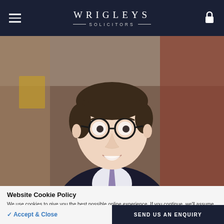WRIGLEYS SOLICITORS
[Figure (photo): Professional headshot of a young man with dark hair and round black-framed glasses, wearing a dark suit with a light purple tie, smiling, photographed outdoors in front of a brick building with a bronze plaque visible in the background.]
Website Cookie Policy
We use cookies to give you the best possible online experience. If you continue, we'll assume you are happy for your web browser to receive all cookies from our website.
See our cookie policy for more information
✓ Accept & Close
SEND US AN ENQUIRY